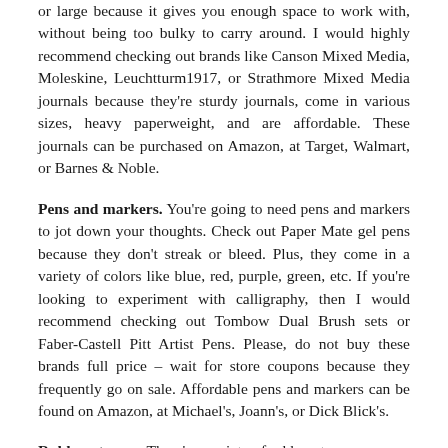or large because it gives you enough space to work with, without being too bulky to carry around. I would highly recommend checking out brands like Canson Mixed Media, Moleskine, Leuchtturm1917, or Strathmore Mixed Media journals because they're sturdy journals, come in various sizes, heavy paperweight, and are affordable. These journals can be purchased on Amazon, at Target, Walmart, or Barnes & Noble.
Pens and markers. You're going to need pens and markers to jot down your thoughts. Check out Paper Mate gel pens because they don't streak or bleed. Plus, they come in a variety of colors like blue, red, purple, green, etc. If you're looking to experiment with calligraphy, then I would recommend checking out Tombow Dual Brush sets or Faber-Castell Pitt Artist Pens. Please, do not buy these brands full price – wait for store coupons because they frequently go on sale. Affordable pens and markers can be found on Amazon, at Michael's, Joann's, or Dick Blick's.
Rubber stamps. There's a variety of rubber stamps you can use to personalize your journals such as seasonal, floral, animal, inspirational, letter, or number decor. There's also an endless amount of ink colors to select. You can correlate ink colors to